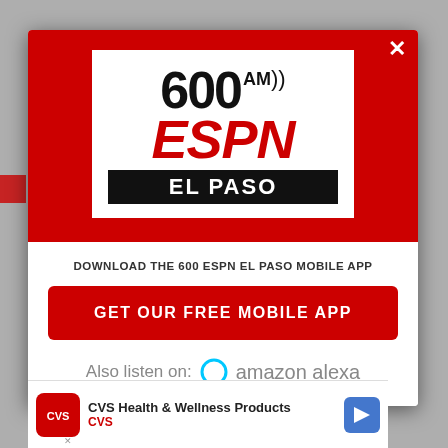[Figure (logo): 600 AM ESPN El Paso radio station logo — white background box with '600 AM' in black, 'ESPN' in red italic, 'EL PASO' in white on black bar, radio signal waves, all inside a red modal popup with close X button]
DOWNLOAD THE 600 ESPN EL PASO MOBILE APP
GET OUR FREE MOBILE APP
Also listen on:  amazon alexa
[Figure (other): CVS Health & Wellness Products advertisement banner at bottom with CVS pharmacy logo, text 'CVS Health & Wellness Products' and 'CVS', navigation arrow icon]